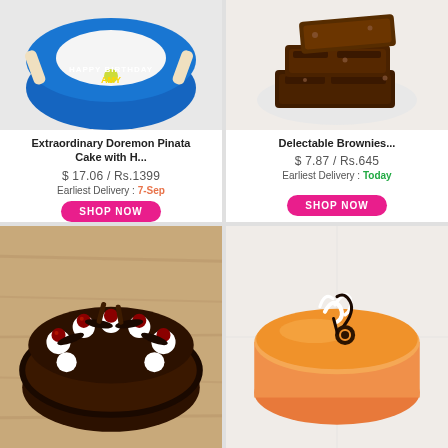[Figure (photo): Blue birthday cake with 'HAPPY BIRTHDAY AMY' text and tennis racket decoration, top-down view]
Extraordinary Doremon Pinata Cake with H...
$ 17.06 / Rs.1399
Earliest Delivery : 7-Sep
SHOP NOW
[Figure (photo): Stack of chocolate brownies on a white plate, close-up]
Delectable Brownies...
$ 7.87 / Rs.645
Earliest Delivery : Today
SHOP NOW
[Figure (photo): Black forest cake with cherries, chocolate pieces and whipped cream on wooden surface]
[Figure (photo): Round orange mango cake with white chocolate curls and chocolate decoration on top]